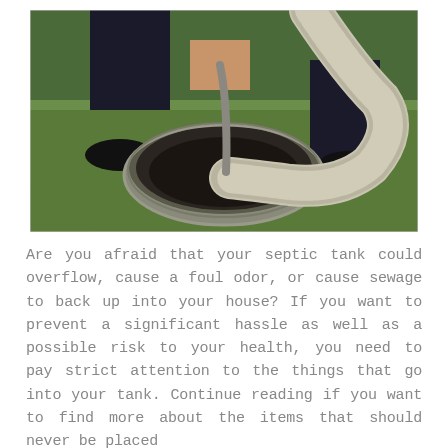[Figure (photo): A person kneeling on grass, inserting a large corrugated hose into an open septic tank manhole. The tank opening is circular and made of concrete. The person is wearing dark pants and black shoes. The scene is outdoors on green grass.]
Are you afraid that your septic tank could overflow, cause a foul odor, or cause sewage to back up into your house? If you want to prevent a significant hassle as well as a possible risk to your health, you need to pay strict attention to the things that go into your tank. Continue reading if you want to find more about the items that should never be placed